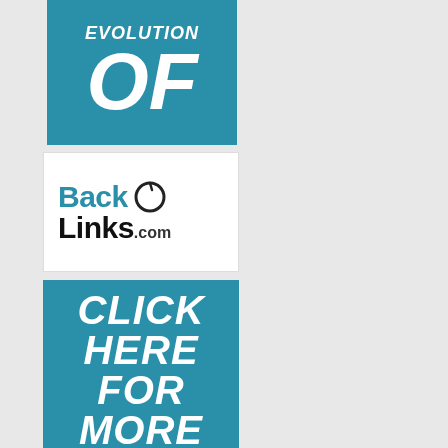[Figure (logo): Teal/blue background banner with large white italic bold text reading 'EVOLUTION OF' on two lines, top portion partially cropped]
[Figure (logo): White background with BackO logo: blue bold text 'Back' followed by black circle icon, then black bold text 'Links.com']
[Figure (infographic): Teal/blue background with large white italic bold text reading 'CLICK HERE FOR MORE' in four lines, with a green circular arrow icon at the bottom]